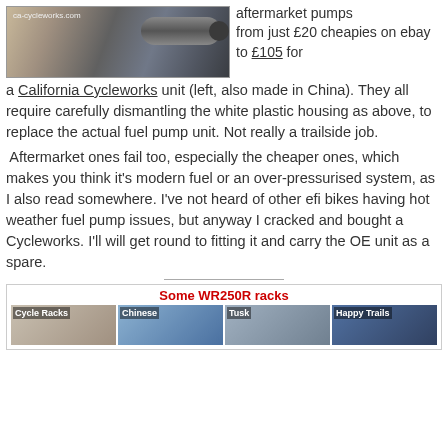[Figure (photo): A fuel pump unit from CA-Cycleworks, cylindrical metal component on a cardboard box with CA-Cycleworks branding]
aftermarket pumps from just £20 cheapies on ebay to £105 for a California Cycleworks unit (left, also made in China). They all require carefully dismantling the white plastic housing as above, to replace the actual fuel pump unit. Not really a trailside job.
 Aftermarket ones fail too, especially the cheaper ones, which makes you think it's modern fuel or an over-pressurised system, as I also read somewhere. I've not heard of other efi bikes having hot weather fuel pump issues, but anyway I cracked and bought a Cycleworks. I'll will get round to fitting it and carry the OE unit as a spare.
[Figure (photo): Some WR250R racks - showing four rack options: Cycle Racks, Chinese, Tusk, Happy Trails]
Some WR250R racks